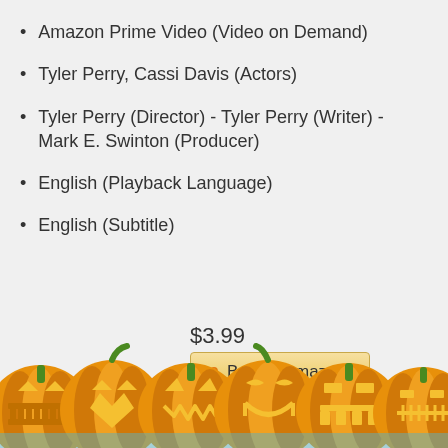Amazon Prime Video (Video on Demand)
Tyler Perry, Cassi Davis (Actors)
Tyler Perry (Director) - Tyler Perry (Writer) - Mark E. Swinton (Producer)
English (Playback Language)
English (Subtitle)
$3.99
Buy on Amazon
[Figure (illustration): Row of six carved jack-o-lantern pumpkins with glowing faces, orange with green stems, decorative Halloween illustration at the bottom of the page]